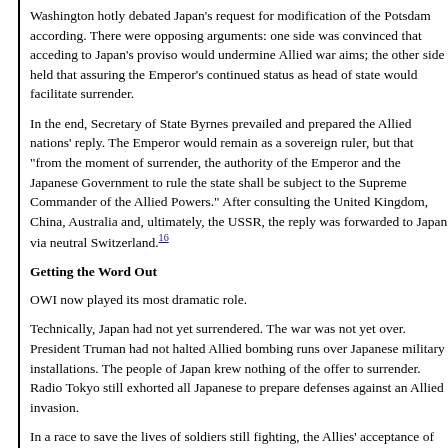Washington hotly debated Japan’s request for modification of the Potsdam accord. There were opposing arguments: one side was convinced that acceding to Japan’s proviso would undermine Allied war aims; the other side held that assuring the Emperor’s continued status as head of state would facilitate surrender.
In the end, Secretary of State Byrnes prevailed and prepared the Allied nations’ reply. The Emperor would remain as a sovereign ruler, but that “from the moment of surrender, the authority of the Emperor and the Japanese Government to rule the state shall be subject to the Supreme Commander of the Allied Powers.” After consulting the United Kingdom, China, Australia and, ultimately, the USSR, the reply was forwarded to Japan via neutral Switzerland.³16
Getting the Word Out
OWI now played its most dramatic role.
Technically, Japan had not yet surrendered. The war was not yet over. President Truman had not halted Allied bombing runs over Japanese military installations. The people of Japan knew nothing of the offer to surrender. Radio Tokyo still exhorted all Japanese to prepare defenses against an Allied invasion.
In a race to save the lives of soldiers still fighting, the Allies’ acceptance of Japan’s conditional surrender terms was radioed to OWI in Honolulu and Saipan at the same time that the Secretary of State and the US War Department sent an urgent dispatch ordering OWI to inform the Japanese people immediately that their government had offered to surrender and that the Allies had accepted the offer. The confirmation from the White House, threw OWI personnel into high gear. The text for the message was telephoned and dictated by telephone to Honolulu, where it was transcribed, translated into Japanese, and transmitted by “radiophoto” within two hours.